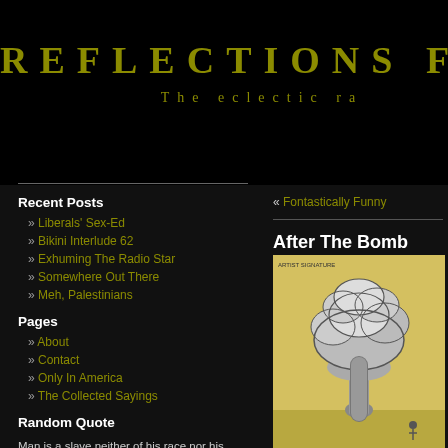REFLECTIONS FR
The eclectic ra
Recent Posts
Liberals' Sex-Ed
Bikini Interlude 62
Exhuming The Radio Star
Somewhere Out There
Meh, Palestinians
Pages
About
Contact
Only In America
The Collected Sayings
Random Quote
Man is a slave neither of his race nor his language, nor of his religion, nor of the course of rivers nor of the direction taken
« Fontastically Funny
After The Bomb
[Figure (illustration): Cartoon illustration showing a mushroom cloud after a bomb explosion, drawn in black and white style on a yellow/green background]